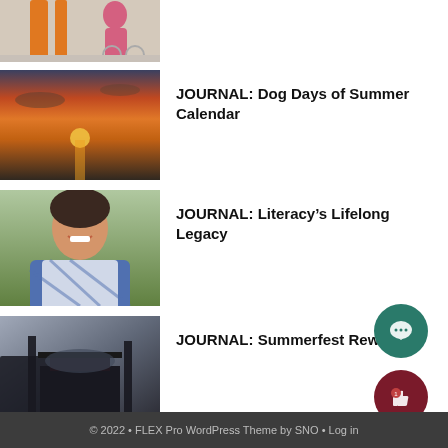[Figure (photo): Partial photo of person in pink outfit on bicycle with orange structure, cropped at top]
JOURNAL: Dog Days of Summer Calendar
[Figure (photo): Sunset over water with orange sky]
JOURNAL: Literacy’s Lifelong Legacy
[Figure (photo): Smiling woman in blue/white patterned scarf outdoors]
JOURNAL: Summerfest Rewind
[Figure (photo): Dark industrial/concert stage silhouette photo]
© 2022 • FLEX Pro WordPress Theme by SNO • Log in